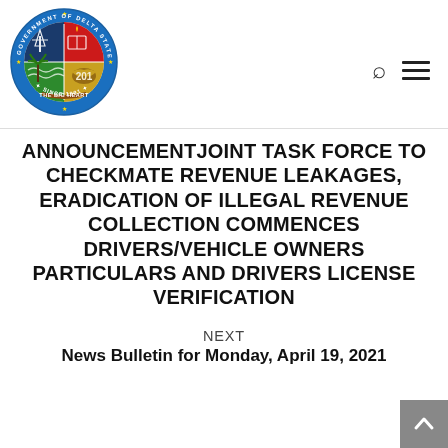[Figure (logo): Government of Delta State Nigeria official seal/logo - circular blue seal with coat of arms, text 'GOVERNMENT OF DELTA STATE NIGERIA', 'THE BIG HEART', 'SINCE 1991']
ANNOUNCEMENTJOINT TASK FORCE TO CHECKMATE REVENUE LEAKAGES, ERADICATION OF ILLEGAL REVENUE COLLECTION COMMENCES DRIVERS/VEHICLE OWNERS PARTICULARS AND DRIVERS LICENSE VERIFICATION
NEXT
News Bulletin for Monday, April 19, 2021